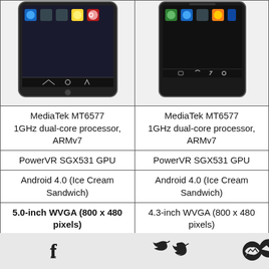| Phone 1 | Phone 2 |
| --- | --- |
| [phone image] | [phone image] |
| MediaTek MT6577
1GHz dual-core processor, ARMv7 | MediaTek MT6577
1GHz dual-core processor, ARMv7 |
| PowerVR SGX531 GPU | PowerVR SGX531 GPU |
| Android 4.0 (Ice Cream Sandwich) | Android 4.0 (Ice Cream Sandwich) |
| 5.0-inch WVGA (800 x 480 pixels)
Capacitive touchscreen | 4.3-inch WVGA (800 x 480 pixels)
IPS Capacitive touchscreen |
| 512MB RAM | 512MB RAM |
| 4GB of internal storage | 4GB of internal storage |
[Figure (other): Social sharing bar at bottom with Facebook, Twitter, Messenger, SMS, and Share icons]